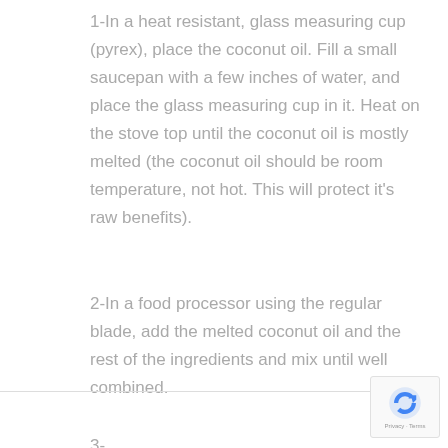1-In a heat resistant, glass measuring cup (pyrex), place the coconut oil. Fill a small saucepan with a few inches of water, and place the glass measuring cup in it. Heat on the stove top until the coconut oil is mostly melted (the coconut oil should be room temperature, not hot. This will protect it's raw benefits).
2-In a food processor using the regular blade, add the melted coconut oil and the rest of the ingredients and mix until well combined.
3-